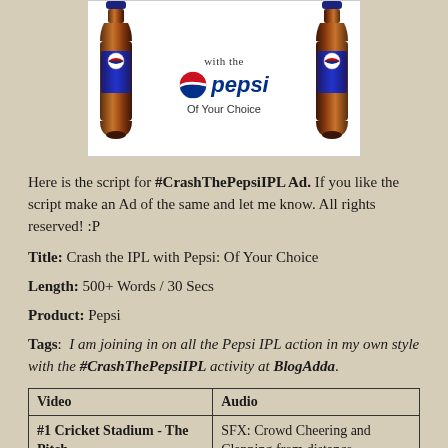[Figure (illustration): Pepsi advertisement image showing two Pepsi bottles on either side with the text 'with the pepsi Of Your Choice' and the Pepsi globe logo in the center, on a white background.]
Here is the script for #CrashThePepsiIPL Ad. If you like the script make an Ad of the same and let me know. All rights reserved! :P
Title: Crash the IPL with Pepsi: Of Your Choice
Length: 500+ Words / 30 Secs
Product: Pepsi
Tags: I am joining in on all the Pepsi IPL action in my own style with the #CrashThePepsiIPL activity at BlogAdda.
| Video | Audio |
| --- | --- |
| #1 Cricket Stadium - The Pitch
Crowd evenly split into red and blue jerseys | SFX: Crowd Cheering and Clapping from distance

SFX: Spinning ball sound when |